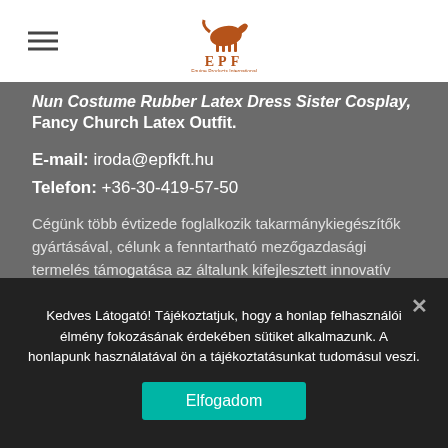[Figure (logo): EPF logo with stylized horse and letters E P F, Equine Products International]
Nun Costume Rubber Latex Dress Sister Cosplay, Fancy Church Latex Outfit.
E-mail: iroda@epfkft.hu
Telefon: +36-30-419-57-50
Cégünk több évtizede foglalkozik takarmánykiegészítők gyártásával, célunk a fenntartható mezőgazdasági termelés támogatása az általunk kifejlesztett innovatív technológiákon és termékeken keresztül.
Kedves Látogató! Tájékoztatjuk, hogy a honlap felhasználói élmény fokozásának érdekében sütiket alkalmazunk. A honlapunk használatával ön a tájékoztatásunkat tudomásul veszi.
Elfogadom